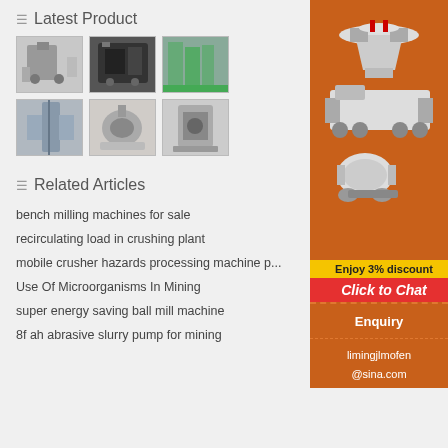Latest Product
[Figure (photo): Grid of 6 industrial mining/milling machine product photos]
Related Articles
bench milling machines for sale
recirculating load in crushing plant
mobile crusher hazards processing machine p...
Use Of Microorganisms In Mining
super energy saving ball mill machine
8f ah abrasive slurry pump for mining
[Figure (illustration): Orange sidebar advertisement showing mining equipment machines, 'Enjoy 3% discount', 'Click to Chat' button, Enquiry link, and email limingjlmofen@sina.com]